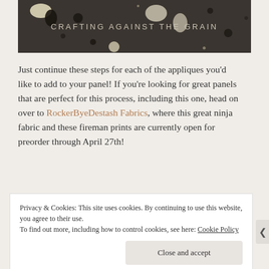[Figure (photo): Dark fabric banner image with text 'CRAFTING AGAINST THE GRAIN' and decorative paint splatter spots]
Just continue these steps for each of the appliques you'd like to add to your panel! If you're looking for great panels that are perfect for this process, including this one, head on over to RockerByeDestash Fabrics, where this great ninja fabric and these fireman prints are currently open for preorder through April 27th!
Privacy & Cookies: This site uses cookies. By continuing to use this website, you agree to their use.
To find out more, including how to control cookies, see here: Cookie Policy
Close and accept